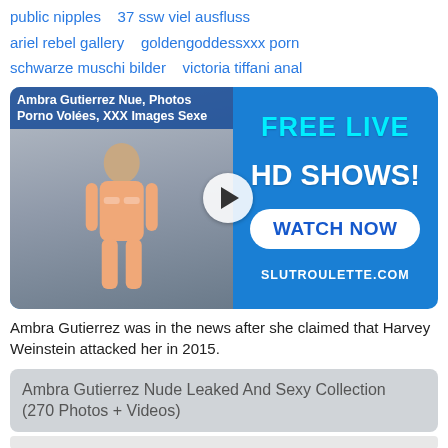public nipples   37 ssw viel ausfluss
ariel rebel gallery   goldengoddessxxx porn
schwarze muschi bilder   victoria tiffani anal
[Figure (screenshot): Promotional media block with title 'Ambra Gutierrez Nue, Photos Porno Volées, XXX Images Sexe', photo of a person, play button, and advertisement for 'FREE LIVE HD SHOWS! WATCH NOW SLUTROULETTE.COM' on blue background]
Ambra Gutierrez was in the news after she claimed that Harvey Weinstein attacked her in 2015.
Ambra Gutierrez Nude Leaked And Sexy Collection (270 Photos + Videos)